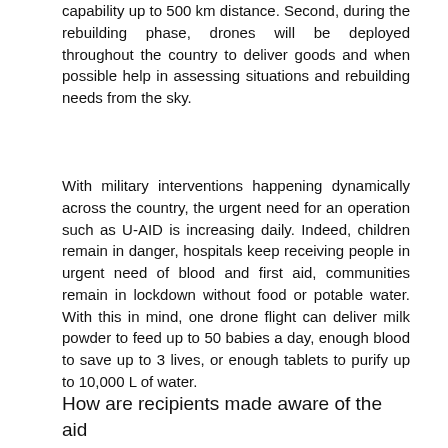capability up to 500 km distance. Second, during the rebuilding phase, drones will be deployed throughout the country to deliver goods and when possible help in assessing situations and rebuilding needs from the sky.
With military interventions happening dynamically across the country, the urgent need for an operation such as U-AID is increasing daily. Indeed, children remain in danger, hospitals keep receiving people in urgent need of blood and first aid, communities remain in lockdown without food or potable water. With this in mind, one drone flight can deliver milk powder to feed up to 50 babies a day, enough blood to save up to 3 lives, or enough tablets to purify up to 10,000 L of water.
How are recipients made aware of the aid